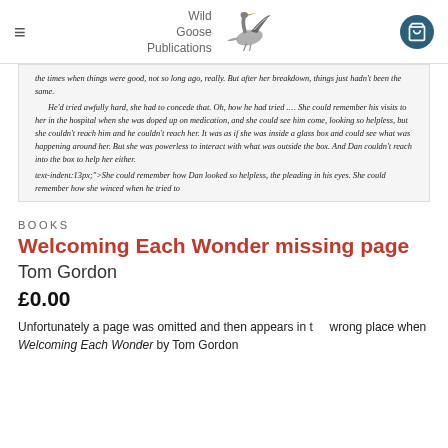Wild Goose Publications
the times when things were good, not so long ago, really. But after her breakdown, things just hadn't been the same.

He'd tried awfully hard, she had to concede that. Oh, how he had tried .... She could remember his visits to her in the hospital when she was doped up on medication, and she could see him come, looking so helpless, but she couldn't reach him and he couldn't reach her. It was as if she was inside a glass box and could see what was happening around her. But she was powerless to interact with what was outside the box. And Dan couldn't reach into the box to help her either.

She could remember how Dan looked so helpless, the pleading in his eyes. She could remember how she winced when he tried to
BOOKS
Welcoming Each Wonder missing page
Tom Gordon
£0.00
Unfortunately a page was omitted and then appears in the wrong place when Welcoming Each Wonder by Tom Gordon